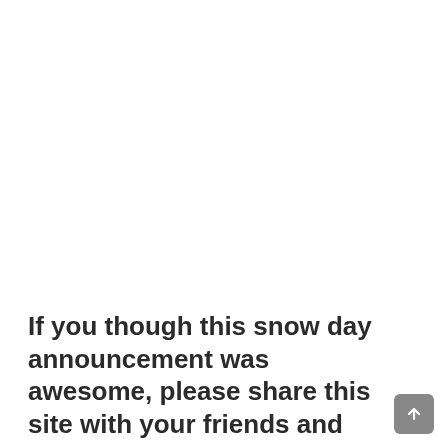If you though this snow day announcement was awesome, please share this site with your friends and